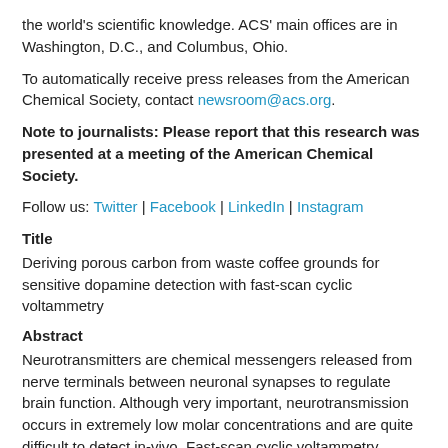the world's scientific knowledge. ACS' main offices are in Washington, D.C., and Columbus, Ohio.
To automatically receive press releases from the American Chemical Society, contact newsroom@acs.org.
Note to journalists: Please report that this research was presented at a meeting of the American Chemical Society.
Follow us: Twitter | Facebook | LinkedIn | Instagram
Title
Deriving porous carbon from waste coffee grounds for sensitive dopamine detection with fast-scan cyclic voltammetry
Abstract
Neurotransmitters are chemical messengers released from nerve terminals between neuronal synapses to regulate brain function. Although very important, neurotransmission occurs in extremely low molar concentrations and are quite difficult to detect in-vivo. Fast-scan cyclic voltammetry (FSCV) is an electrochemical